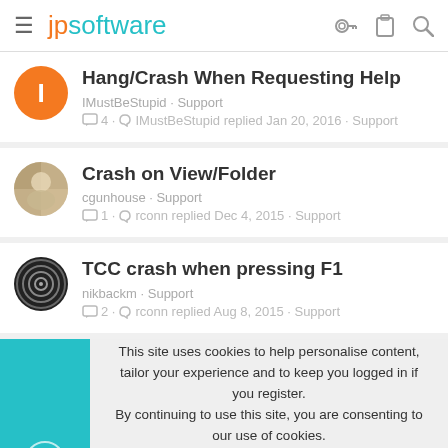jpsoftware
Hang/Crash When Requesting Help — IMustBeStupid · Support — 4 · IMustBeStupid replied Jan 20, 2016 · Support
Crash on View/Folder — cgunhouse · Support — 1 · rconn replied Dec 4, 2015 · Support
TCC crash when pressing F1 — nikbackm · Support — 2 · rconn replied Aug 8, 2015 · Support
This site uses cookies to help personalise content, tailor your experience and to keep you logged in if you register. By continuing to use this site, you are consenting to our use of cookies.